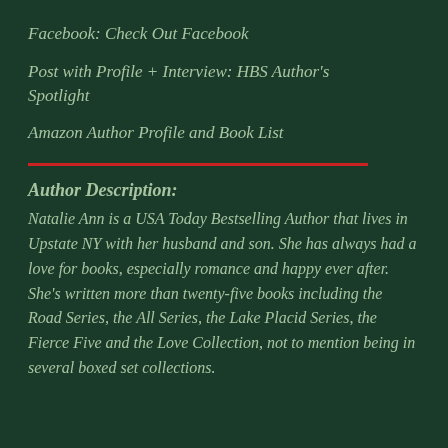Facebook: Check Out Facebook
Post with Profile + Interview: HBS Author's Spotlight
Amazon Author Profile and Book List
Author Description:
Natalie Ann is a USA Today Bestselling Author that lives in Upstate NY with her husband and son. She has always had a love for books, especially romance and happy ever after. She's written more than twenty-five books including the Road Series, the All Series, the Lake Placid Series, the Fierce Five and the Love Collection, not to mention being in several boxed set collections.